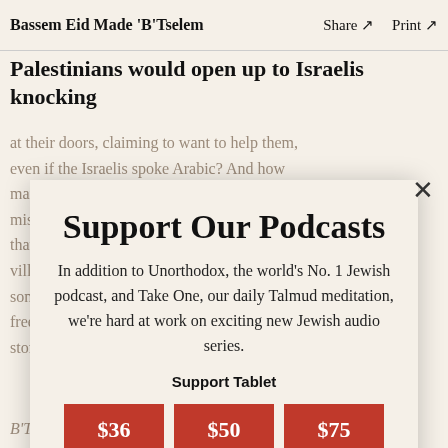Bassem Eid Made 'B'Tselem   Share ↗   Print ↗
Palestinians would open up to Israelis knocking at their doors, claiming to want to help them, even if the Israelis spoke Arabic? And how many Israelis would credit stories of mistreatment by their soldiers, when they knew that Palestinians not infrequently reported to village leaders or PLO leaders—someone to whom the Palestinians would talk freely but who would at the same time vet their stories with a critical eye.
Support Our Podcasts
In addition to Unorthodox, the world's No. 1 Jewish podcast, and Take One, our daily Talmud meditation, we're hard at work on exciting new Jewish audio series.
Support Tablet
$36
$50
$75
B'Tselem's search led them to Eid who was then